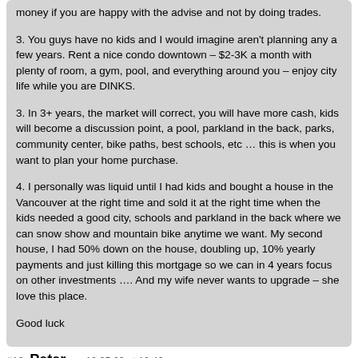money if you are happy with the advise and not by doing trades.

3. You guys have no kids and I would imagine aren't planning any a few years. Rent a nice condo downtown – $2-3K a month with plenty of room, a gym, pool, and everything around you – enjoy city life while you are DINKS.

3. In 3+ years, the market will correct, you will have more cash, kids will become a discussion point, a pool, parkland in the back, parks, community center, bike paths, best schools, etc … this is when you want to plan your home purchase.

4. I personally was liquid until I had kids and bought a house in the Vancouver at the right time and sold it at the right time when the kids needed a good city, schools and parkland in the back where we can snow show and mountain bike anytime we want. My second house, I had 50% down on the house, doubling up, 10% yearly payments and just killing this mortgage so we can in 4 years focus on other investments …. And my wife never wants to upgrade – she love this place.

Good luck
#18  Peter  on 10.05.09 at 10:46 pm